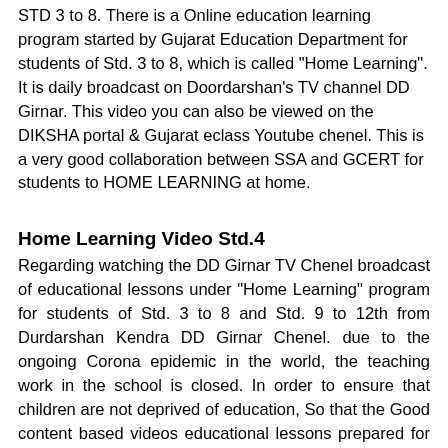STD 3 to 8. There is a Online education learning program started by Gujarat Education Department for students of Std. 3 to 8, which is called "Home Learning". It is daily broadcast on Doordarshan's TV channel DD Girnar. This video you can also be viewed on the DIKSHA portal & Gujarat eclass Youtube chenel. This is a very good collaboration between SSA and GCERT for students to HOME LEARNING at home.
Home Learning Video Std.4
Regarding watching the DD Girnar TV Chenel broadcast of educational lessons under "Home Learning" program for students of Std. 3 to 8 and Std. 9 to 12th from Durdarshan Kendra DD Girnar Chenel. due to the ongoing Corona epidemic in the world, the teaching work in the school is closed. In order to ensure that children are not deprived of education, So that the Good content based videos educational lessons prepared for the students of Std. 3rd to 8th and Std. 9th to 12th from the state level for the educational work of the pupils through TV. i.e. Doordarshan Kendra, D.D. It is planned to broadcast from Girnar panel.